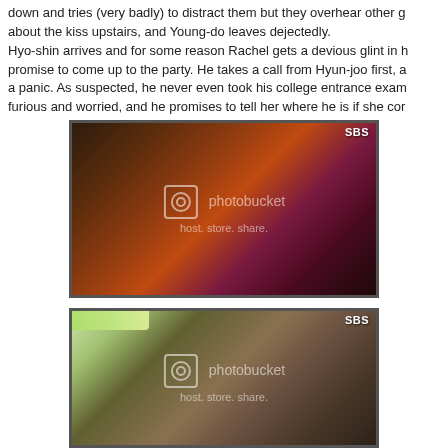down and tries (very badly) to distract them but they overhear other guests talking about the kiss upstairs, and Young-do leaves dejectedly. Hyo-shin arrives and for some reason Rachel gets a devious glint in her eye. She gets a promise to come up to the party. He takes a call from Hyun-joo first, and he goes into a panic. As suspected, he never even took his college entrance exam. Hyun-joo is furious and worried, and he promises to tell her where he is if she co...
[Figure (photo): Screenshot from Korean drama showing a young woman with straight dark hair and bangs wearing a purple/magenta fuzzy jacket, standing indoors. SBS watermark in top right corner. Photobucket watermark overlay in center.]
[Figure (photo): Screenshot from Korean drama showing a young man with bowl-cut dark hair wearing a dark jacket with sherpa/fleece collar, partially visible woman in foreground. SBS watermark in top right corner. Photobucket watermark overlay in center. Green fluorescent light visible in upper left.]